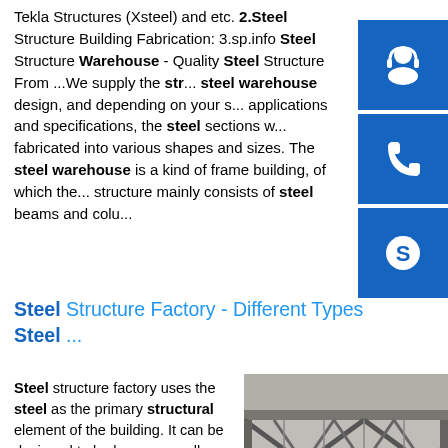Tekla Structures (Xsteel) and etc. 2.Steel Structure Building Fabrication: 3.sp.info Steel Structure Warehouse - Quality Steel Structure From ...We supply the str... steel warehouse design, and depending on your s... applications and specifications, the steel sections w... fabricated into various shapes and sizes. The steel warehouse is a kind of frame building, of which the... structure mainly consists of steel beams and colu...
[Figure (infographic): Sidebar with three blue icon buttons: headset/customer support icon, phone icon, and Skype icon]
Steel Structure Factory - Different Types Steel ...
Steel structure factory uses the steel as the primary structural element of the building. It can be designed to be large or small. Due to its strength, durability and ease of construction, the structural steel is used in the majority of industries to...
[Figure (photo): Photo of a steel structure building under construction showing steel beams, trusses and columns from below]